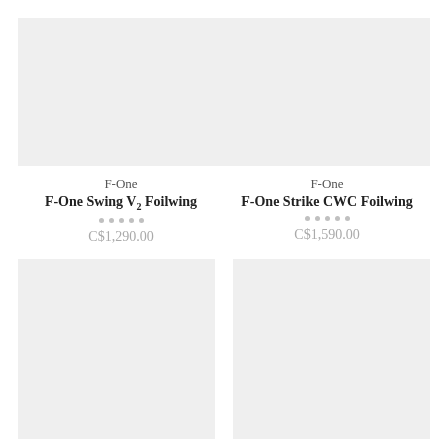[Figure (photo): Product image placeholder for F-One Swing V2 Foilwing, light gray background]
F-One
F-One Swing V2 Foilwing
C$1,290.00
[Figure (photo): Product image placeholder for F-One Strike CWC Foilwing, light gray background]
F-One
F-One Strike CWC Foilwing
C$1,590.00
[Figure (photo): Product image placeholder, bottom-left, light gray background]
[Figure (photo): Product image placeholder, bottom-right, light gray background]